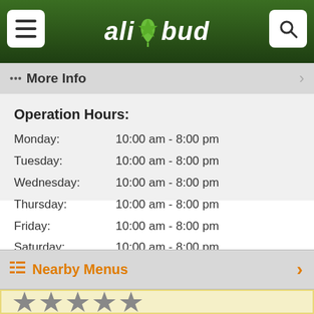allbud
••• More Info
Operation Hours:
Monday:    10:00 am - 8:00 pm
Tuesday:   10:00 am - 8:00 pm
Wednesday: 10:00 am - 8:00 pm
Thursday:  10:00 am - 8:00 pm
Friday:    10:00 am - 8:00 pm
Saturday:  10:00 am - 8:00 pm
Sunday:    10:00 am - 7:00 pm    Open
Nearby Menus
[Figure (other): Five star rating icons (grey stars)]